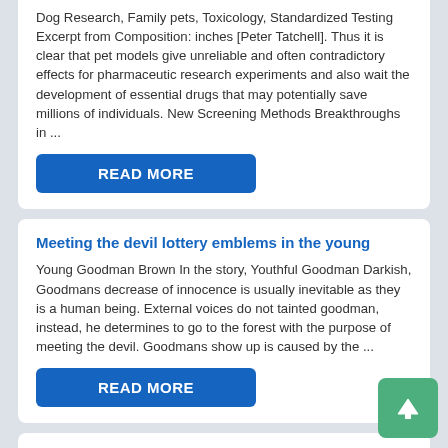Dog Research, Family pets, Toxicology, Standardized Testing Excerpt from Composition: inches [Peter Tatchell]. Thus it is clear that pet models give unreliable and often contradictory effects for pharmaceutic research experiments and also wait the development of essential drugs that may potentially save millions of individuals. New Screening Methods Breakthroughs in ...
READ MORE
Meeting the devil lottery emblems in the young
Young Goodman Brown In the story, Youthful Goodman Darkish, Goodmans decrease of innocence is usually inevitable as they is a human being. External voices do not tainted goodman, instead, he determines to go to the forest with the purpose of meeting the devil. Goodmans show up is caused by the ...
READ MORE
Batman and robin bonnet essay
Getting your name frequently listed among the heroes Batman and Robin the boy wonder Hood may be a fantasy for many, but to me it is